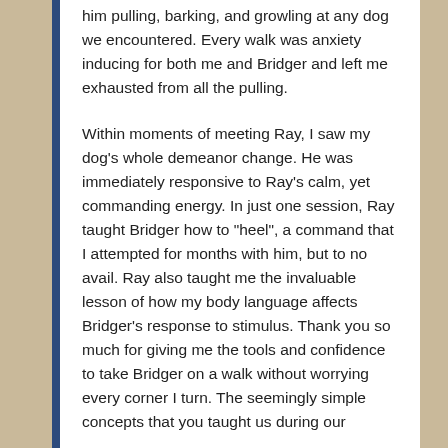him pulling, barking, and growling at any dog we encountered. Every walk was anxiety inducing for both me and Bridger and left me exhausted from all the pulling.
Within moments of meeting Ray, I saw my dog's whole demeanor change. He was immediately responsive to Ray's calm, yet commanding energy. In just one session, Ray taught Bridger how to "heel", a command that I attempted for months with him, but to no avail. Ray also taught me the invaluable lesson of how my body language affects Bridger's response to stimulus. Thank you so much for giving me the tools and confidence to take Bridger on a walk without worrying every corner I turn. The seemingly simple concepts that you taught us during our